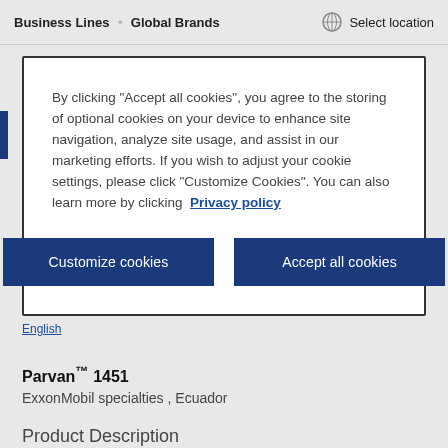Business Lines · Global Brands | Select location
By clicking “Accept all cookies”, you agree to the storing of optional cookies on your device to enhance site navigation, analyze site usage, and assist in our marketing efforts. If you wish to adjust your cookie settings, please click “Customize Cookies”. You can also learn more by clicking Privacy policy
Customize cookies
Accept all cookies
English
Parvan™ 1451
ExxonMobil specialties , Ecuador
Product Description
Parvan 1451 is a high-range melting point product in the Parvan line of fully refined paraffin waxes. Parvan waxes meet the requirements for most industrial wax applications and meet applicable Food and Drug